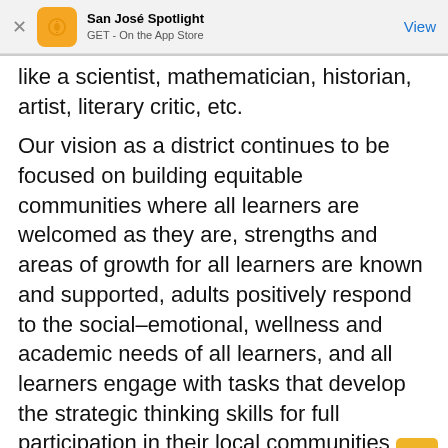San José Spotlight
GET - On the App Store
like a scientist, mathematician, historian, artist, literary critic, etc.
Our vision as a district continues to be focused on building equitable communities where all learners are welcomed as they are, strengths and areas of growth for all learners are known and supported, adults positively respond to the social–emotional, wellness and academic needs of all learners, and all learners engage with tasks that develop the strategic thinking skills for full participation in their local communities and the global society.
In ESUHSD, our block schedule during distance